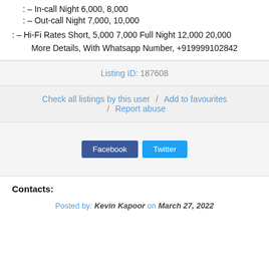: – In-call Night 6,000, 8,000
: – Out-call Night 7,000, 10,000
: – Hi-Fi Rates Short, 5,000 7,000 Full Night 12,000 20,000
More Details, With Whatsapp Number, +919999102842
Listing ID: 187608
Check all listings by this user / Add to favourites / Report abuse
[Figure (other): Facebook and Twitter share buttons]
Contacts:
Posted by: Kevin Kapoor on March 27, 2022